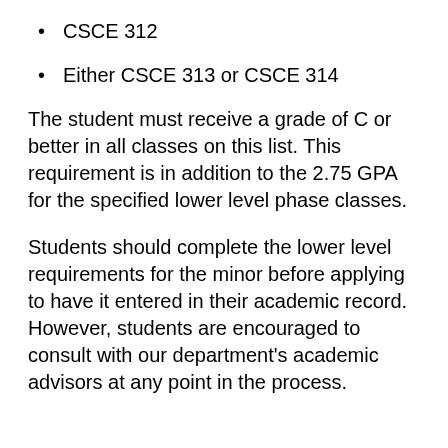CSCE 312
Either CSCE 313 or CSCE 314
The student must receive a grade of C or better in all classes on this list. This requirement is in addition to the 2.75 GPA for the specified lower level phase classes.
Students should complete the lower level requirements for the minor before applying to have it entered in their academic record. However, students are encouraged to consult with our department's academic advisors at any point in the process.